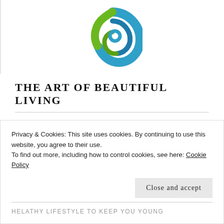[Figure (logo): Circular swirl logo with blue and green colors on white background]
THE ART OF BEAUTIFUL LIVING
ABOUT HER
FASHION ISSUES
BEAUTY
Privacy & Cookies: This site uses cookies. By continuing to use this website, you agree to their use.
To find out more, including how to control cookies, see here: Cookie Policy
HELATHY LIFESTYLE TO KEEP YOU YOUNG